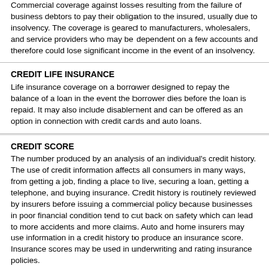Commercial coverage against losses resulting from the failure of business debtors to pay their obligation to the insured, usually due to insolvency. The coverage is geared to manufacturers, wholesalers, and service providers who may be dependent on a few accounts and therefore could lose significant income in the event of an insolvency.
CREDIT LIFE INSURANCE
Life insurance coverage on a borrower designed to repay the balance of a loan in the event the borrower dies before the loan is repaid. It may also include disablement and can be offered as an option in connection with credit cards and auto loans.
CREDIT SCORE
The number produced by an analysis of an individual's credit history. The use of credit information affects all consumers in many ways, from getting a job, finding a place to live, securing a loan, getting a telephone, and buying insurance. Credit history is routinely reviewed by insurers before issuing a commercial policy because businesses in poor financial condition tend to cut back on safety which can lead to more accidents and more claims. Auto and home insurers may use information in a credit history to produce an insurance score. Insurance scores may be used in underwriting and rating insurance policies.
CRIME INSURANCE
Term referring to property coverages for the perils of burglary, theft and robbery.
CROP-HAIL INSURANCE
Protection against damage to growing crops from hail, fire, or lightning.